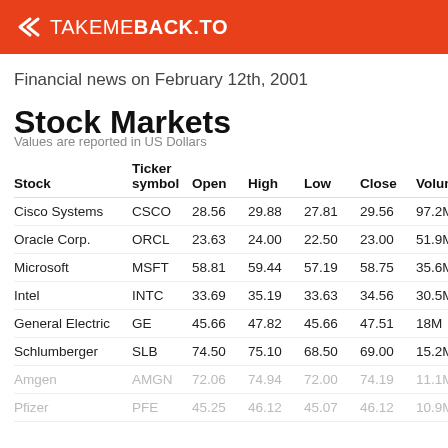TAKEMEBACK.TO
Financial news on February 12th, 2001
Stock Markets
Values are reported in US Dollars
| Stock | Ticker symbol | Open | High | Low | Close | Volume |
| --- | --- | --- | --- | --- | --- | --- |
| Cisco Systems | CSCO | 28.56 | 29.88 | 27.81 | 29.56 | 97.2M |
| Oracle Corp. | ORCL | 23.63 | 24.00 | 22.50 | 23.00 | 51.9M |
| Microsoft | MSFT | 58.81 | 59.44 | 57.19 | 58.75 | 35.6M |
| Intel | INTC | 33.69 | 35.19 | 33.63 | 34.56 | 30.5M |
| General Electric | GE | 45.66 | 47.82 | 45.66 | 47.51 | 18M |
| Schlumberger | SLB | 74.50 | 75.10 | 68.50 | 69.00 | 15.2M |
| Amgen | AMGN | 72.06 | 74.94 | 72.00 | 74.19 | 11.1M |
| Pfizer | PFE | 45.25 | 46.12 | 45.07 | 46.12 | 10.9M |